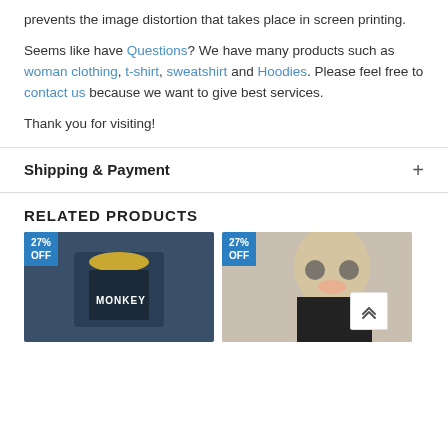prevents the image distortion that takes place in screen printing.
Seems like have Questions? We have many products such as woman clothing, t-shirt, sweatshirt and Hoodies. Please feel free to contact us because we want to give best services.
Thank you for visiting!
Shipping & Payment
RELATED PRODUCTS
[Figure (photo): Person wearing a navy blue graphic t-shirt with 27% OFF badge]
[Figure (photo): Woman with sunglasses smiling, wearing dark clothing with 27% OFF badge]